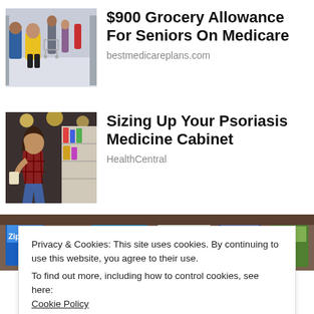[Figure (photo): People shopping in a grocery/warehouse store with shopping carts]
$900 Grocery Allowance For Seniors On Medicare
bestmedicareplans.com
[Figure (photo): Woman crouching in a pharmacy/store aisle reading a product label]
Sizing Up Your Psoriasis Medicine Cabinet
HealthCentral
[Figure (photo): Household products including Ziploc bags, laundry detergent bottles on a surface]
Privacy & Cookies: This site uses cookies. By continuing to use this website, you agree to their use.
To find out more, including how to control cookies, see here:
Cookie Policy
Close and accept